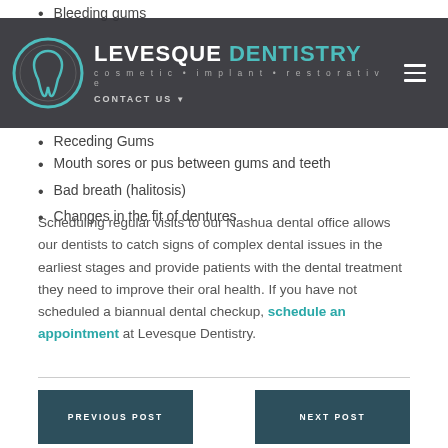Bleeding gums
[Figure (logo): Levesque Dentistry logo with circular tooth icon and text: LEVESQUE DENTISTRY cosmetic • implant • restorative, with CONTACT US nav element]
Receding Gums
Mouth sores or pus between gums and teeth
Bad breath (halitosis)
Changes in the fit of dentures
Scheduling regular visits to our Nashua dental office allows our dentists to catch signs of complex dental issues in the earliest stages and provide patients with the dental treatment they need to improve their oral health. If you have not scheduled a biannual dental checkup, schedule an appointment at Levesque Dentistry.
PREVIOUS POST | NEXT POST